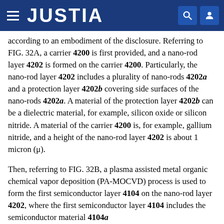JUSTIA
according to an embodiment of the disclosure. Referring to FIG. 32A, a carrier 4200 is first provided, and a nano-rod layer 4202 is formed on the carrier 4200. Particularly, the nano-rod layer 4202 includes a plurality of nano-rods 4202a and a protection layer 4202b covering side surfaces of the nano-rods 4202a. A material of the protection layer 4202b can be a dielectric material, for example, silicon oxide or silicon nitride. A material of the carrier 4200 is, for example, gallium nitride, and a height of the nano-rod layer 4202 is about 1 micron (μ).
Then, referring to FIG. 32B, a plasma assisted metal organic chemical vapor deposition (PA-MOCVD) process is used to form the first semiconductor layer 4104 on the nano-rod layer 4202, where the first semiconductor layer 4104 includes the semiconductor material 4104a